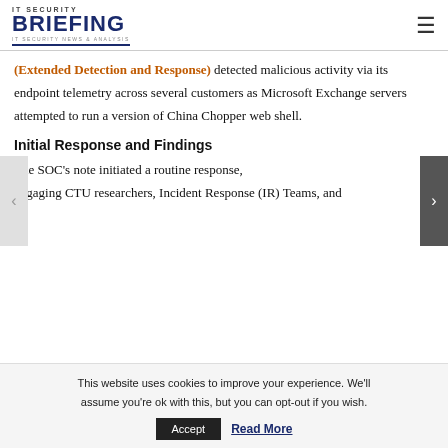IT SECURITY BRIEFING — IT SECURITY NEWS & ANALYSIS
(Extended Detection and Response) detected malicious activity via its endpoint telemetry across several customers as Microsoft Exchange servers attempted to run a version of China Chopper web shell.
Initial Response and Findings
The SOC's note initiated a routine response, engaging CTU researchers, Incident Response (IR) Teams, and
This website uses cookies to improve your experience. We'll assume you're ok with this, but you can opt-out if you wish.